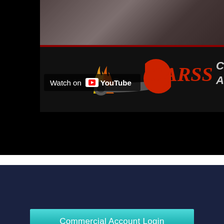[Figure (screenshot): YouTube video thumbnail showing CARSS auto repair shop, with a mechanic working on a car engine. Black background with red accent bar. CARSS logo with flame/wrench graphic visible. 'Watch on YouTube' overlay button shown.]
[Figure (logo): CARSS logo in footer — flame and wrench graphic in orange/yellow/red with 'CARSS' text in red italic on dark navy background]
(815) 356-8006   (815) 356-8215
Commercial Account Login